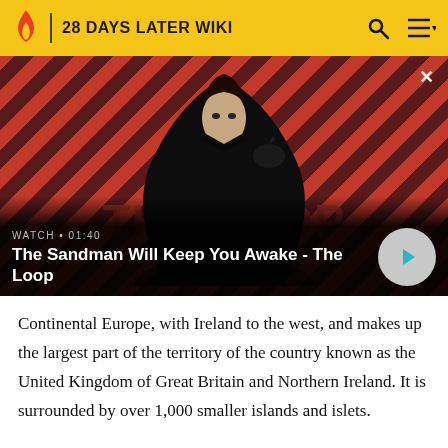28 DAYS LATER WIKI
[Figure (screenshot): Video thumbnail for 'The Sandman Will Keep You Awake - The Loop' with a dark-cloaked figure against a red and dark striped background. Shows WATCH • 01:40 label and a play button.]
The Sandman Will Keep You Awake - The Loop
Continental Europe, with Ireland to the west, and makes up the largest part of the territory of the country known as the United Kingdom of Great Britain and Northern Ireland. It is surrounded by over 1,000 smaller islands and islets.